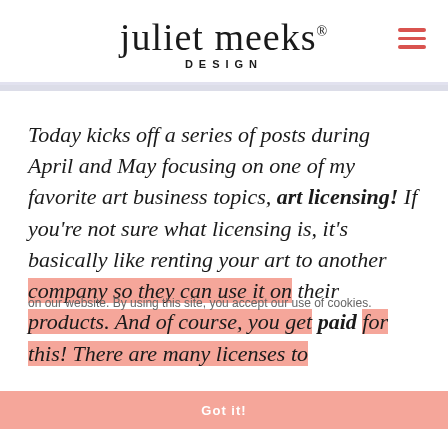juliet meeks DESIGN
Today kicks off a series of posts during April and May focusing on one of my favorite art business topics, art licensing! If you're not sure what licensing is, it's basically like renting your art to another company so they can use it on their products. And of course, you get paid for this! There are many licenses to
on our website. By using this site, you accept our use of cookies.
Got it!